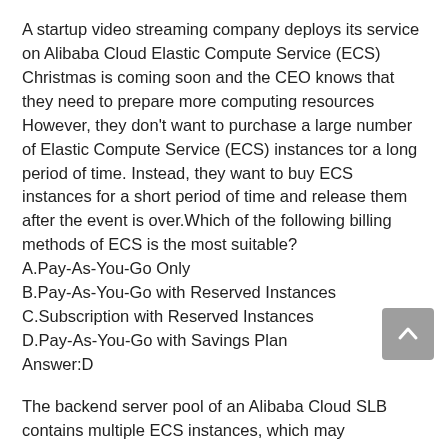A startup video streaming company deploys its service on Alibaba Cloud Elastic Compute Service (ECS) Christmas is coming soon and the CEO knows that they need to prepare more computing resources However, they don't want to purchase a large number of Elastic Compute Service (ECS) instances tor a long period of time. Instead, they want to buy ECS instances for a short period of time and release them after the event is over.Which of the following billing methods of ECS is the most suitable?
A.Pay-As-You-Go Only
B.Pay-As-You-Go with Reserved Instances
C.Subscription with Reserved Instances
D.Pay-As-You-Go with Savings Plan
Answer:D
The backend server pool of an Alibaba Cloud SLB contains multiple ECS instances, which may